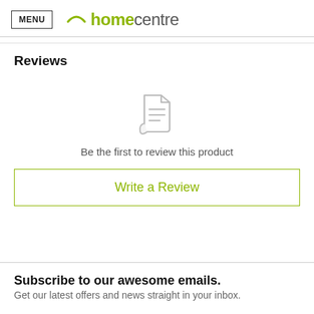MENU homecentre
Reviews
[Figure (illustration): A grey document/review icon — a curled page with horizontal lines representing text]
Be the first to review this product
Write a Review
Subscribe to our awesome emails.
Get our latest offers and news straight in your inbox.